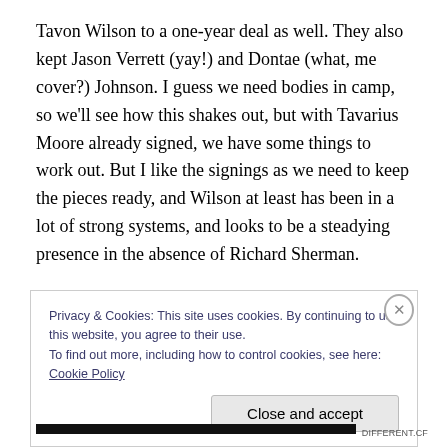Tavon Wilson to a one-year deal as well. They also kept Jason Verrett (yay!) and Dontae (what, me cover?) Johnson. I guess we need bodies in camp, so we'll see how this shakes out, but with Tavarius Moore already signed, we have some things to work out. But I like the signings as we need to keep the pieces ready, and Wilson at least has been in a lot of strong systems, and looks to be a steadying presence in the absence of Richard Sherman.
That being said, the move we are still dreaming on,
Privacy & Cookies: This site uses cookies. By continuing to use this website, you agree to their use.
To find out more, including how to control cookies, see here: Cookie Policy
Close and accept